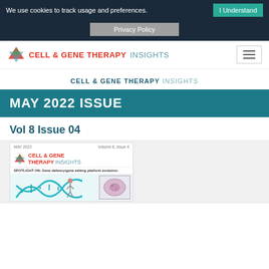We use cookies to track usage and preferences.  I Understand
Privacy Policy
CELL & GENE THERAPY INSIGHTS
CELL & GENE THERAPY INSIGHTS
MAY 2022 ISSUE
Vol 8 Issue 04
[Figure (screenshot): Thumbnail cover image of Cell & Gene Therapy Insights May 2022 Volume 8 Issue 4, showing the journal logo, spotlight text on Gene delivery/gene editing platform evolution, and a partial illustration with a DNA helix and microscopy image.]